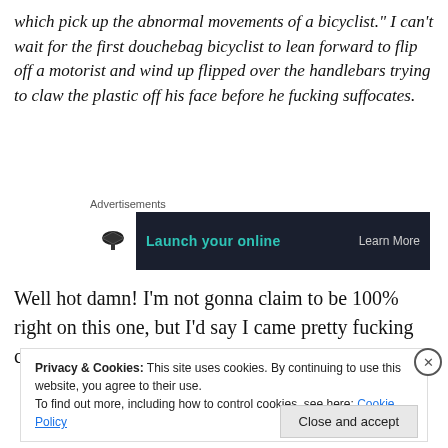which pick up the abnormal movements of a bicyclist." I can't wait for the first douchebag bicyclist to lean forward to flip off a motorist and wind up flipped over the handlebars trying to claw the plastic off his face before he fucking suffocates.
Advertisements
[Figure (other): Advertisement banner with dark background showing a graduation cap icon, green text 'Launch your online' and 'Learn More' button]
Well hot damn! I'm not gonna claim to be 100% right on this one, but I'd say I came pretty fucking close to nailing
Privacy & Cookies: This site uses cookies. By continuing to use this website, you agree to their use.
To find out more, including how to control cookies, see here: Cookie Policy